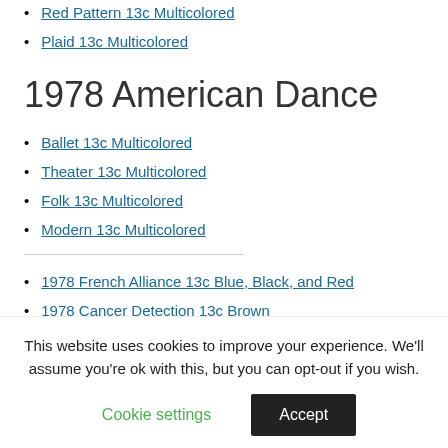Red Pattern 13c Multicolored
Plaid 13c Multicolored
1978 American Dance
Ballet 13c Multicolored
Theater 13c Multicolored
Folk 13c Multicolored
Modern 13c Multicolored
1978 French Alliance 13c Blue, Black, and Red
1978 Cancer Detection 13c Brown
This website uses cookies to improve your experience. We'll assume you're ok with this, but you can opt-out if you wish.
Cookie settings | Accept